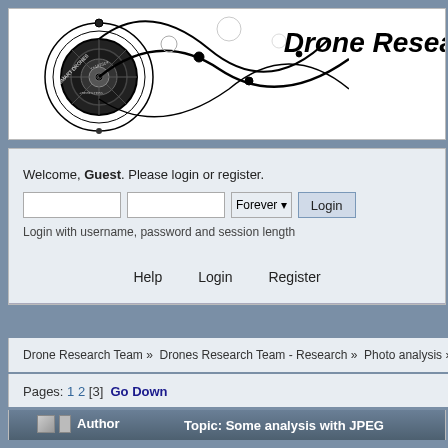[Figure (logo): Drone Research Team banner with decorative circular/wave design on left and bold italic 'Drone Resea...' text on right]
Welcome, Guest. Please login or register.
Login with username, password and session length
Help   Login   Register
Drone Research Team » Drones Research Team - Research » Photo analysis » Some a...
Pages: 1 2 [3]  Go Down
| Author | Topic: Some analysis with JPEG |
| --- | --- |